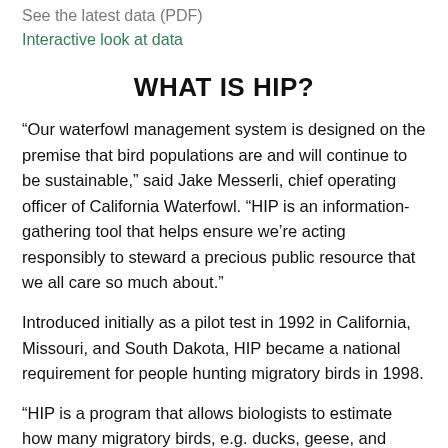See the latest data (PDF)
Interactive look at data
WHAT IS HIP?
“Our waterfowl management system is designed on the premise that bird populations are and will continue to be sustainable,” said Jake Messerli, chief operating officer of California Waterfowl. “HIP is an information-gathering tool that helps ensure we’re acting responsibly to steward a precious public resource that we all care so much about.”
Introduced initially as a pilot test in 1992 in California, Missouri, and South Dakota, HIP became a national requirement for people hunting migratory birds in 1998.
“HIP is a program that allows biologists to estimate how many migratory birds, e.g. ducks, geese, and doves, hunters harvest in this country each year.”